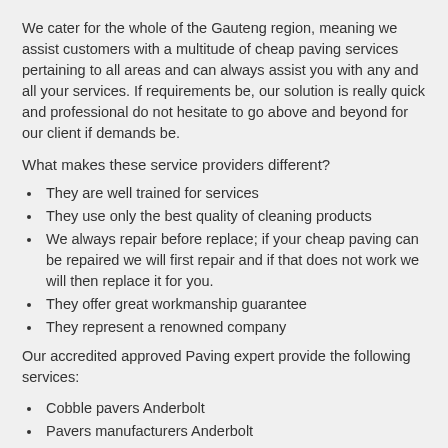We cater for the whole of the Gauteng region, meaning we assist customers with a multitude of cheap paving services pertaining to all areas and can always assist you with any and all your services. If requirements be, our solution is really quick and professional do not hesitate to go above and beyond for our client if demands be.
What makes these service providers different?
They are well trained for services
They use only the best quality of cleaning products
We always repair before replace; if your cheap paving can be repaired we will first repair and if that does not work we will then replace it for you.
They offer great workmanship guarantee
They represent a renowned company
Our accredited approved Paving expert provide the following services:
Cobble pavers Anderbolt
Pavers manufacturers Anderbolt
Paving expert Anderbolt
Paving contractors Anderbolt
Paving Anderbolt
Driveway paving contractors Anderbolt
Paving and driveways Anderbolt
Paving solutions Anderbolt
Pavers Anderbolt
Paving expert Anderbolt